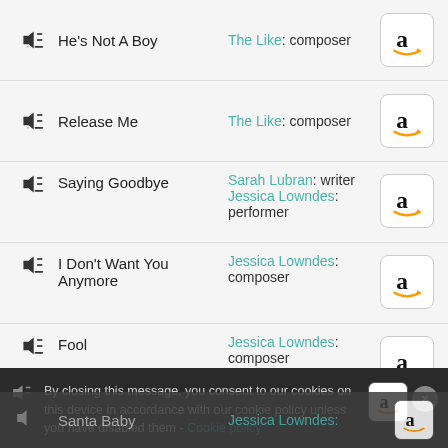He's Not A Boy — The Like: composer
Release Me — The Like: composer
Saying Goodbye — Sarah Lubran: writer; Jessica Lowndes: performer
I Don't Want You Anymore — Jessica Lowndes: composer
Fool — Jessica Lowndes: composer
Teardrops Fall — Jessica Lowndes: composer
By closing this message, you consent to our cookies on this device in accordance with our cookie policy unless you have disabled them - Cookie policy
Santa Baby — Jessica Lowndes: